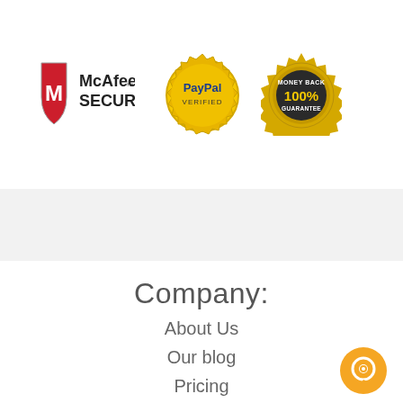[Figure (logo): McAfee SECURE logo with red shield and M icon]
[Figure (logo): PayPal Verified gold badge]
[Figure (logo): 100% Money Back Guarantee gold seal]
Company:
About Us
Our blog
Pricing
[Figure (logo): Orange chat/support bubble icon]